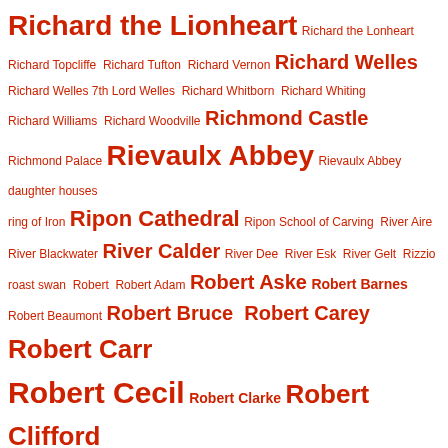Richard the Lionheart Richard the Lonheart Richard Topcliffe Richard Tufton Richard Vernon Richard Welles Richard Welles 7th Lord Welles Richard Whitborn Richard Whiting Richard Williams Richard Woodville Richmond Castle Richmond Palace Rievaulx Abbey Rievaulx Abbey daughter houses ring of Iron Ripon Cathedral Ripon School of Carving River Aire River Blackwater River Calder River Dee River Esk River Gelt Rizzio roast swan Robert Robert Adam Robert Aske Robert Barnes Robert Beaumont Robert Bruce Robert Carey Robert Carr Robert Cecil Robert Clarke Robert Clifford Robert Cumin Robert Curthose Robert d'Alney Robert de Clare Robert de Clifford Robert de Commines Robert de Lacy Robert Devereaux Robert Devereux Robert de Vipont Robert de Welle Robert Deyncourt Robert Dillington Robert Dudley Robert Dunham Robert Ferrar Robert Ferrers' of Wem Robert FitxWalter Robert fitz Hulbert Robert Fitzwalter Robert Gauntake robert Howley Robert Holdesworth